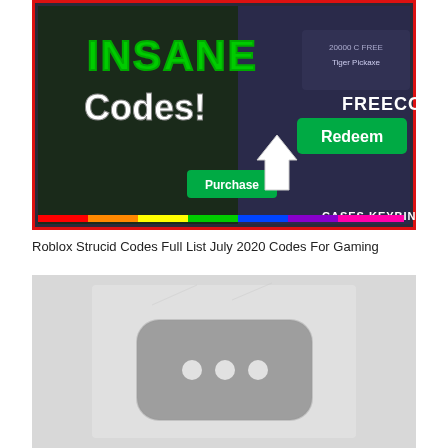[Figure (screenshot): Screenshot of a Roblox Strucid game thumbnail showing 'INSANE Codes!' text in green and white, a cursor clicking a green Redeem button labeled FREECOINS, with Purchase button visible and CASES KEYBIND text at the bottom right. Red border frame around the image, rainbow stripe at the bottom.]
Roblox Strucid Codes Full List July 2020 Codes For Gaming
[Figure (screenshot): A light gray placeholder image showing a blurred YouTube play button icon (rounded rectangle with three dots) in gray tones on a light gray background.]